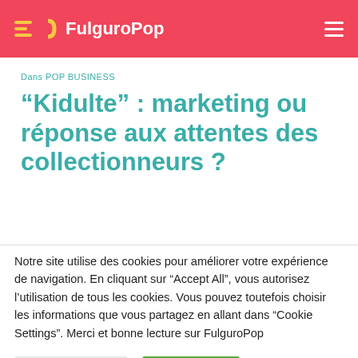FulguroPop
Dans POP BUSINESS
“Kidulte” : marketing ou réponse aux attentes des collectionneurs ?
Notre site utilise des cookies pour améliorer votre expérience de navigation. En cliquant sur “Accept All”, vous autorisez l’utilisation de tous les cookies. Vous pouvez toutefois choisir les informations que vous partagez en allant dans “Cookie Settings”. Merci et bonne lecture sur FulguroPop
Cookie Settings | Accept All